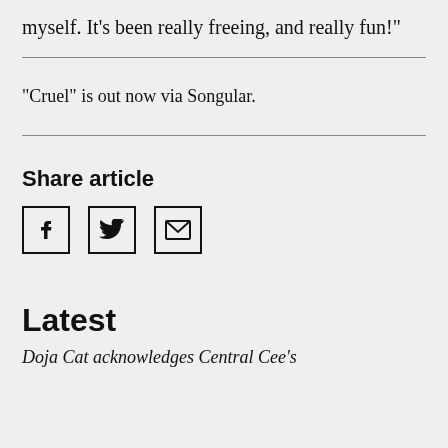myself. It’s been really freeing, and really fun!”
“Cruel” is out now via Songular.
Share article
[Figure (infographic): Social share icons: Facebook, Twitter, and Email]
Latest
Doja Cat acknowledges Central Cee’s